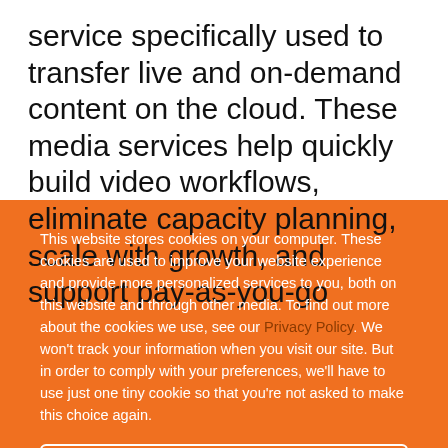service specifically used to transfer live and on-demand content on the cloud. These media services help quickly build video workflows, eliminate capacity planning, scale with growth, and support pay-as-you-go
This website stores cookies on your computer. These cookies are used to improve your website experience and provide more personalized services to you, both on this website and through other media. To find out more about the cookies we use, see our Privacy Policy. We won't track your information when you visit our site. But in order to comply with your preferences, we'll have to use just one tiny cookie so that you're not asked to make this choice again.
✔ Accept